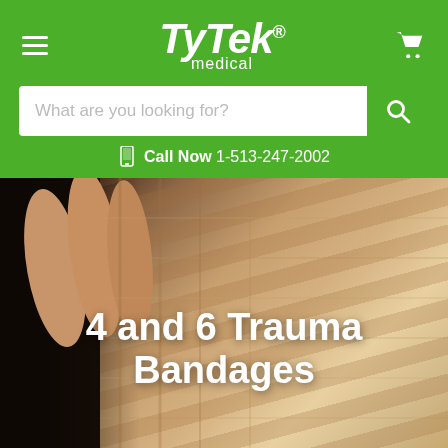[Figure (logo): TyTek Medical logo in white on green background, with hamburger menu icon on left and shopping cart icon on right]
What are you looking for?
Call Now 1-513-247-2002
[Figure (photo): Close-up photograph of tan/beige trauma bandages with ribbed texture, hand visible on left side holding the bandages]
4 and 6 Trauma Bandages